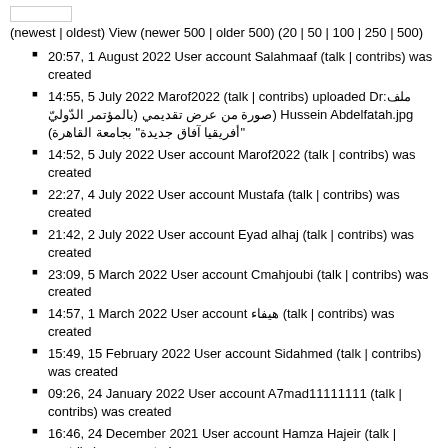(newest | oldest) View (newer 500 | older 500) (20 | 50 | 100 | 250 | 500)
20:57, 1 August 2022 User account Salahmaaf (talk | contribs) was created
14:55, 5 July 2022 Marof2022 (talk | contribs) uploaded ملف:Dr Hussein Abdelfatah.jpg (صورة من عرض تقديمي (بالمؤتمر الدّوليّ "أفريقيا آفاق جديدة" بجامعة القاهرة)
14:52, 5 July 2022 User account Marof2022 (talk | contribs) was created
22:27, 4 July 2022 User account Mustafa (talk | contribs) was created
21:42, 2 July 2022 User account Eyad alhaj (talk | contribs) was created
23:09, 5 March 2022 User account Cmahjoubi (talk | contribs) was created
14:57, 1 March 2022 User account هيفاء (talk | contribs) was created
15:49, 15 February 2022 User account Sidahmed (talk | contribs) was created
09:26, 24 January 2022 User account A7mad11111111 (talk | contribs) was created
16:46, 24 December 2021 User account Hamza Hajeir (talk | contribs) was created